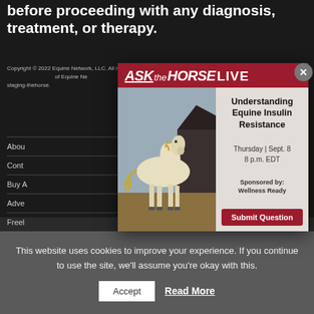before proceeding with any diagnosis, treatment, or therapy.
Copyright © 2022 Equine Network, LLC. All rights reserved. Reproduction in whole or in part in any form or medium without permission of Equine Network is prohibited. The Horse, thehorse.com, staging-thehorse.com, and The Horse logo are registered trademarks of Equine Network, LLC.
About
Contact
Buy A
Adve
Freel
[Figure (infographic): ASK the HORSE LIVE popup modal showing a white horse photo on the left and event details on the right: Understanding Equine Insulin Resistance, Thursday | Sept. 8, 8 p.m. EDT, Sponsored by: Wellness Ready, with a Submit Question button]
This website uses cookies to improve your experience. If you continue to use the site, we'll assume you're okay with this.
Accept
Read More